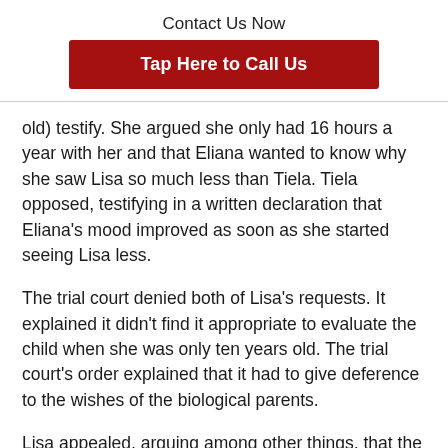Contact Us Now
[Figure (other): Red call-to-action button reading 'Tap Here to Call Us']
old) testify. She argued she only had 16 hours a year with her and that Eliana wanted to know why she saw Lisa so much less than Tiela. Tiela opposed, testifying in a written declaration that Eliana's mood improved as soon as she started seeing Lisa less.
The trial court denied both of Lisa's requests. It explained it didn't find it appropriate to evaluate the child when she was only ten years old. The trial court's order explained that it had to give deference to the wishes of the biological parents.
Lisa appealed, arguing among other things, that the trial court misapplied the law, was required to conduct an evidentiary hearing, and abused its discretion in